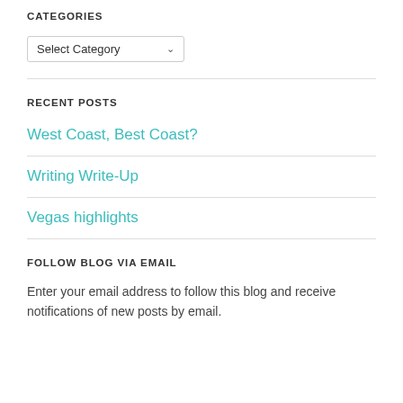CATEGORIES
[Figure (other): Dropdown selector with label 'Select Category']
RECENT POSTS
West Coast, Best Coast?
Writing Write-Up
Vegas highlights
FOLLOW BLOG VIA EMAIL
Enter your email address to follow this blog and receive notifications of new posts by email.